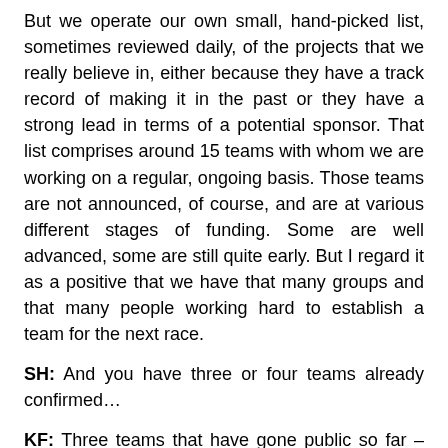But we operate our own small, hand-picked list, sometimes reviewed daily, of the projects that we really believe in, either because they have a track record of making it in the past or they have a strong lead in terms of a potential sponsor. That list comprises around 15 teams with whom we are working on a regular, ongoing basis. Those teams are not announced, of course, and are at various different stages of funding. Some are well advanced, some are still quite early. But I regard it as a positive that we have that many groups and that many people working hard to establish a team for the next race.
SH: And you have three or four teams already confirmed…
KF: Three teams that have gone public so far – Brazil, SCA and Abu Dhabi.
SH: And how are your plans for cost reduction working out?